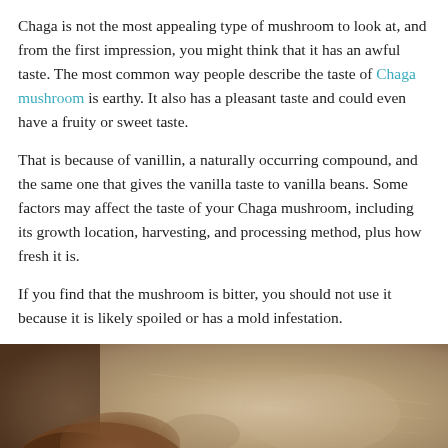Chaga is not the most appealing type of mushroom to look at, and from the first impression, you might think that it has an awful taste. The most common way people describe the taste of Chaga mushroom is earthy. It also has a pleasant taste and could even have a fruity or sweet taste.
That is because of vanillin, a naturally occurring compound, and the same one that gives the vanilla taste to vanilla beans. Some factors may affect the taste of your Chaga mushroom, including its growth location, harvesting, and processing method, plus how fresh it is.
If you find that the mushroom is bitter, you should not use it because it is likely spoiled or has a mold infestation.
[Figure (photo): A blurred close-up photograph showing what appears to be a Chaga mushroom or bark on a textured sandy/rocky surface, with dark brown tones on the left and lighter beige/gray tones on the right.]